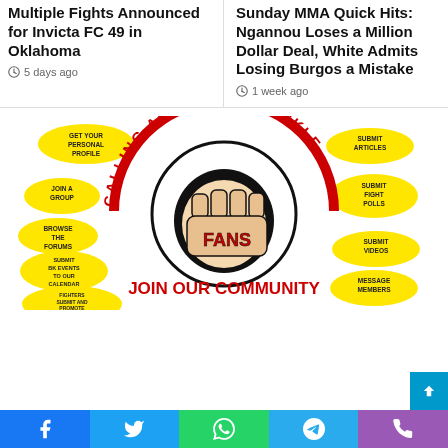Multiple Fights Announced for Invicta FC 49 in Oklahoma
5 days ago
Sunday MMA Quick Hits: Ngannou Loses a Million Dollar Deal, White Admits Losing Burgos a Mistake
1 week ago
[Figure (illustration): Calling All Bare Knuckle Fans - Join Our Community promotional banner with a fist graphic and speech bubbles listing community features: Get Your Personal Profile, Join a Group, Browse the Forums, Submit BK Events to Our Calendar, Fighters Submit and Promote Your Events, Submit Articles, Submit Fight Polls, Submit Videos, Message Members]
Facebook | Twitter | WhatsApp | Telegram | Phone